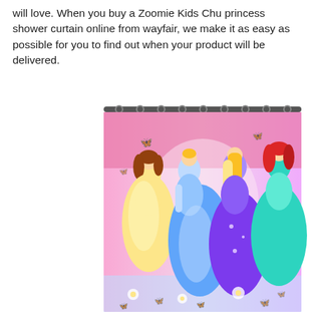will love. When you buy a Zoomie Kids Chu princess shower curtain online from wayfair, we make it as easy as possible for you to find out when your product will be delivered.
[Figure (photo): A Disney princess shower curtain featuring four princesses — Belle in yellow, Cinderella in blue, Rapunzel in purple, and Ariel in teal — on a pink gradient background with butterflies and flowers, hung on a silver rod.]